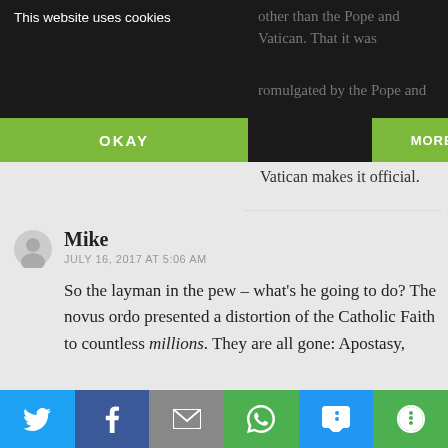other than the Pope and Vatican. That it was promulgated by the Pope and Vatican makes it official.
This website uses cookies
OKAY
MORE INFO
Vatican makes it official.
Mike
JULY 16, 2017 AT 5:06 AM
So the layman in the pew – what's he going to do? The novus ordo presented a distortion of the Catholic Faith to countless millions. They are all gone: Apostasy,
[Figure (other): Social share bar with icons for Twitter, Facebook, Email, WhatsApp, SMS, and More options]